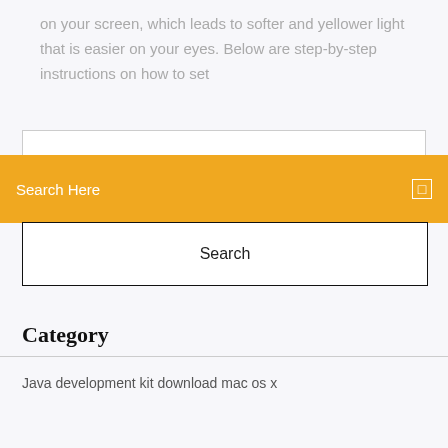on your screen, which leads to softer and yellower light that is easier on your eyes. Below are step-by-step instructions on how to set
Search Here
Search
Category
Java development kit download mac os x